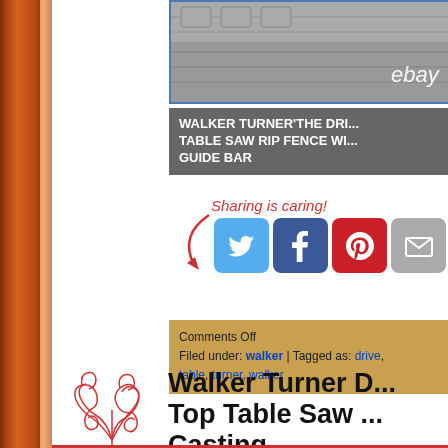[Figure (photo): eBay product image strip showing metal tool parts, with 'ebay' watermark text]
WALKER TURNER'THE DRI... TABLE SAW RIP FENCE WI... GUIDE BAR
[Figure (infographic): Sharing is caring! social media buttons: Twitter, Facebook, Pinterest, Email with decorative arrow]
Comments Off
Filed under: walker | Tagged as: drive, table, turner, walker
[Figure (illustration): Decorative red swirl floral illustration]
Walker Turner D... Top Table Saw ... Casting
Author: admin